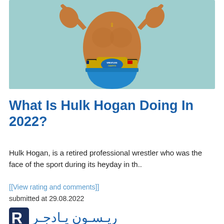[Figure (photo): A muscular wrestler (Hulk Hogan figure/toy) posed with arms raised, wearing a championship belt and blue trunks, against a light teal background.]
What Is Hulk Hogan Doing In 2022?
Hulk Hogan, is a retired professional wrestler who was the face of the sport during its heyday in th..
[[View rating and comments]]
submitted at 29.08.2022
[Figure (logo): Logo with a large dark blue letter R followed by Arabic text in blue reading ريسون يادجر]